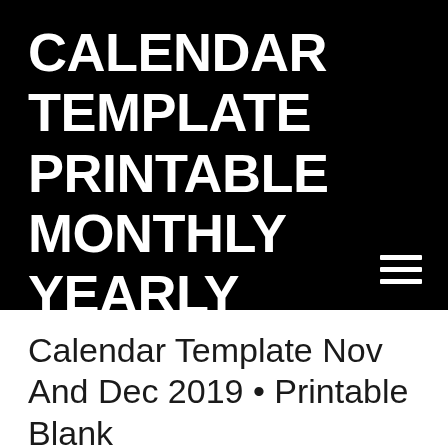CALENDAR TEMPLATE PRINTABLE MONTHLY YEARLY
Calendar Template Nov And Dec 2019 • Printable Blank Calendar Template